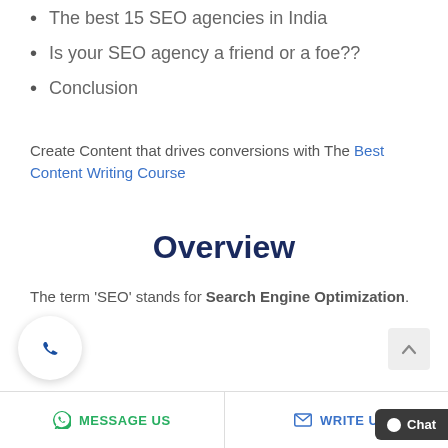The best 15 SEO agencies in India
Is your SEO agency a friend or a foe??
Conclusion
Create Content that drives conversions with The Best Content Writing Course
Overview
The term ‘SEO’ stands for Search Engine Optimization.
MESSAGE US   WRITE U   Chat